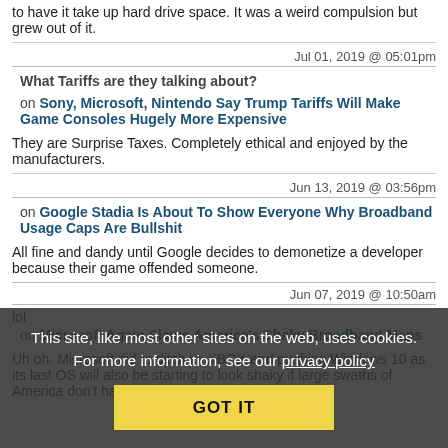to have it take up hard drive space. It was a weird compulsion but grew out of it.
What Tariffs are they talking about?   Jul 01, 2019 @ 05:01pm
on Sony, Microsoft, Nintendo Say Trump Tariffs Will Make Game Consoles Hugely More Expensive
They are Surprise Taxes. Completely ethical and enjoyed by the manufacturers.
Jun 13, 2019 @ 03:56pm
on Google Stadia Is About To Show Everyone Why Broadband Usage Caps Are Bullshit
All fine and dandy until Google decides to demonetize a developer because their game offended someone.
lol   Jun 07, 2019 @ 10:50am
on Microsoft Again Slams America's Shaky Broadband Maps
Uh oh. Microsoft did to ditch its XBOX and pushing Windows 10 as its last OS will also be starting to look shaky if large swaths of America don't have access to reliable cheap and
This site, like most other sites on the web, uses cookies. For more information, see our privacy policy   GOT IT